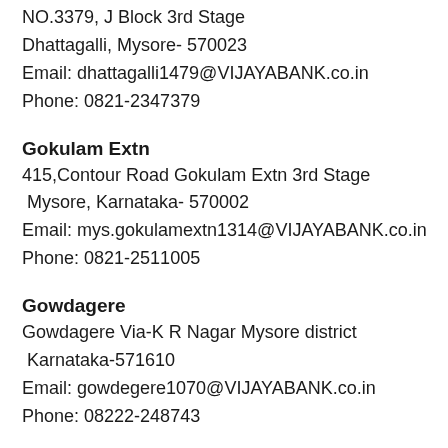NO.3379, J Block 3rd Stage
Dhattagalli, Mysore- 570023
Email: dhattagalli1479@VIJAYABANK.co.in
Phone: 0821-2347379
Gokulam Extn
415,Contour Road Gokulam Extn 3rd Stage
Mysore, Karnataka- 570002
Email: mys.gokulamextn1314@VIJAYABANK.co.in
Phone: 0821-2511005
Gowdagere
Gowdagere Via-K R Nagar Mysore district
Karnataka-571610
Email: gowdegere1070@VIJAYABANK.co.in
Phone: 08222-248743